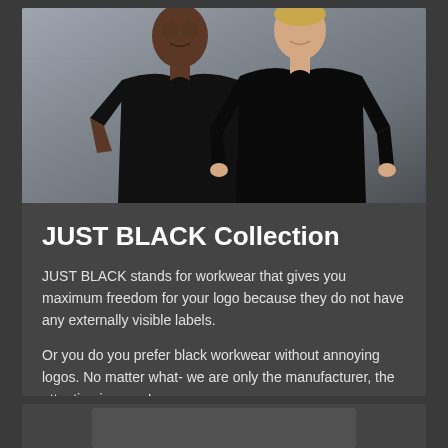[Figure (photo): Two men wearing black clothing (t-shirt and sweatshirt) against a grey concrete background]
JUST BLACK Collection
JUST BLACK stands for workwear that gives you maximum freedom for your logo because they do not have any externally visible labels.
Or you do you prefer black workwear without annoying logos. No matter what- we are only the manufacturer, the attention is yours!